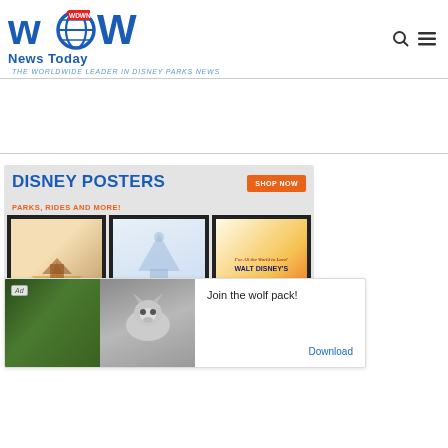WDW News Today — THE WORLDWIDE LEADER IN DISNEY PARKS NEWS
[Figure (screenshot): Disney Posters advertisement banner with framed poster images, SHOP NOW button]
[Figure (advertisement): Ad overlay: wolf pack image with 'Join the wolf pack!' text and Download link]